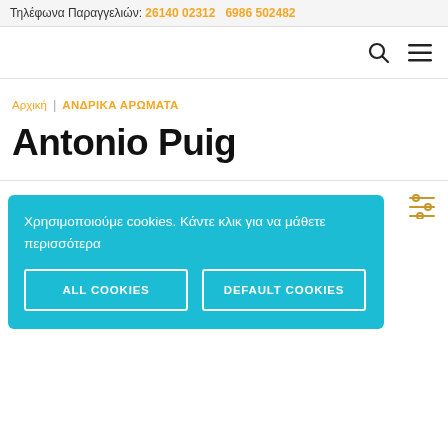Τηλέφωνα Παραγγελιών: 26140 02312  6986 502482
[Figure (screenshot): Navigation bar with search icon and hamburger menu icon]
Αρχική | ΑΝΔΡΙΚΑ ΑΡΩΜΑΤΑ
Antonio Puig
[Figure (screenshot): Cookie consent banner with teal background containing text 'Χρησιμοποιούμε cookies. Κάντε κλικ για να μάθετε περισσότερα' and two buttons: ALL COOKIES and DEFAULT COOKIES]
[Figure (infographic): Filter/sort icon (sliders) in orange on the right side of the content area]